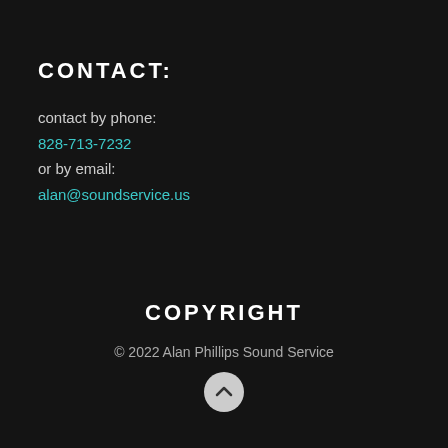CONTACT:
contact by phone:
828-713-7232
or by email:
alan@soundservice.us
COPYRIGHT
© 2022 Alan Phillips Sound Service
[Figure (illustration): A circular up-arrow button (chevron pointing up) with a light gray background]